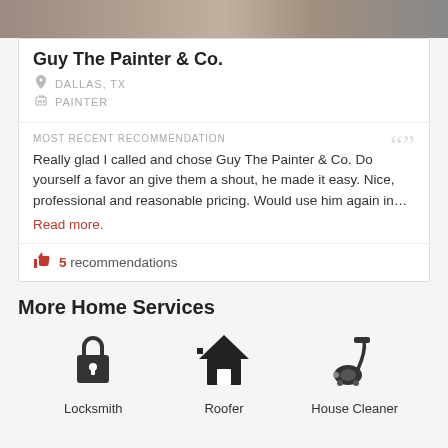[Figure (photo): Top photo strip showing a room interior, partially cropped]
Guy The Painter & Co.
DALLAS, TX
PAINTER
MOST RECENT RECOMMENDATION
Really glad I called and chose Guy The Painter & Co. Do yourself a favor an give them a shout, he made it easy. Nice, professional and reasonable pricing. Would use him again in... Read more.
5 recommendations
More Home Services
[Figure (illustration): Locksmith icon - padlock]
Locksmith
[Figure (illustration): Roofer icon - house]
Roofer
[Figure (illustration): House Cleaner icon - vacuum cleaner]
House Cleaner